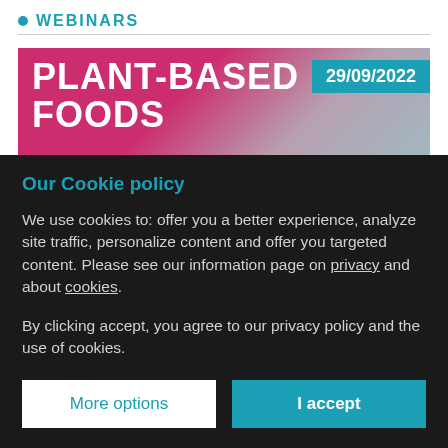WEBINARS
[Figure (screenshot): Plant-based foods webinar banner with pink/magenta background, large white bold text reading 'PLANT-BASED FOODS' and a teal date box showing '29/09/2022']
Our Cookie policy
We use cookies to: offer you a better experience, analyze site traffic, personalize content and offer you targeted content. Please see our information page on privacy and about cookies.
By clicking accept, you agree to our privacy policy and the use of cookies.